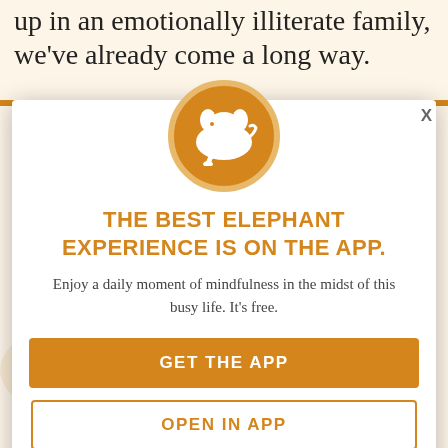up in an emotionally illiterate family, we've already come a long way.
So stop wasting time thinking your thighs are the problem, and actively look into what kind of patterns and behaviors mess up your life. It's and emotions at you like them in other relationships as well
[Figure (infographic): White elephant icon on orange circle background - app logo for Elephant Journal app]
THE BEST ELEPHANT EXPERIENCE IS ON THE APP.
Enjoy a daily moment of mindfulness in the midst of this busy life. It's free.
GET THE APP
OPEN IN APP